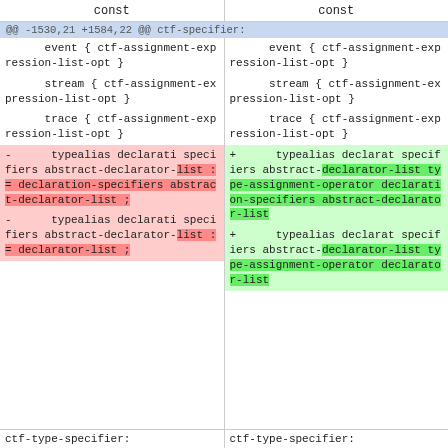const    const
@@ -1530,21 +1584,22 @@ ctf-specifier:
Left column (removed):
event { ctf-assignment-expression-list-opt }
stream { ctf-assignment-expression-list-opt }
trace { ctf-assignment-expression-list-opt }
-      typealias declarati specifiers abstract-declarator-list := declaration-specifiers abstract-declarator-list ;
-      typealias declarati specifiers abstract-declarator-list := declarator-list ;
Right column (added):
event { ctf-assignment-expression-list-opt }
stream { ctf-assignment-expression-list-opt }
trace { ctf-assignment-expression-list-opt }
+      typealias declarat specifiers abstract-declarator-list type-assignment-operator declaration-specifiers abstract-declarator-list
+      typealias declarat specifiers abstract-declarator-list type-assignment-operator declarator-list
ctf-type-specifier:    ctf-type-specifier: